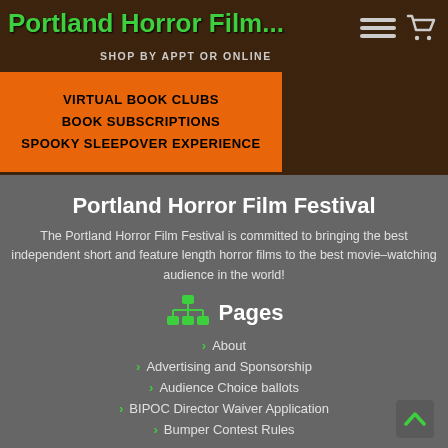Portland Horror Film...
SHOP BY APPT OR ONLINE
[Figure (infographic): Orange banner with text: VIRTUAL BOOK CLUBS, BOOK SUBSCRIPTIONS, SPOOKY SLEEPOVER EXPERIENCE]
Portland Horror Film Festival
The Portland Horror Film Festival is committed to bringing the best independent short and feature length horror films to the best movie-watching audience in the world!
Pages
About
Advertising and Sponsorship
Audience Choice ballots
BIPOC Director Waiver Application
Bumper Contest Rules